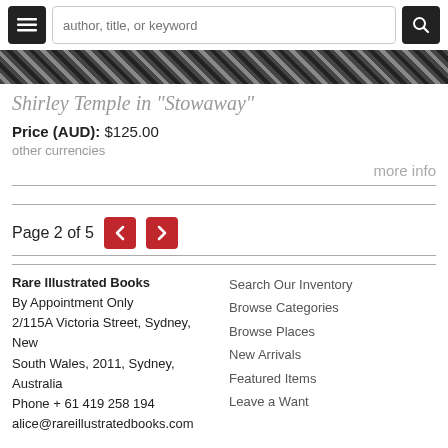author, title, or keyword
[Figure (other): Decorative pattern bar with diagonal hatching in dark tones]
Shirley Temple in "Stowaway"
Price (AUD): $125.00
other currencies
more info
Page 2 of 5
Rare Illustrated Books
By Appointment Only
2/115A Victoria Street, Sydney, New South Wales, 2011, Sydney, Australia
Phone + 61 419 258 194
alice@rareillustratedbooks.com
Search Our Inventory
Browse Categories
Browse Places
New Arrivals
Featured Items
Leave a Want